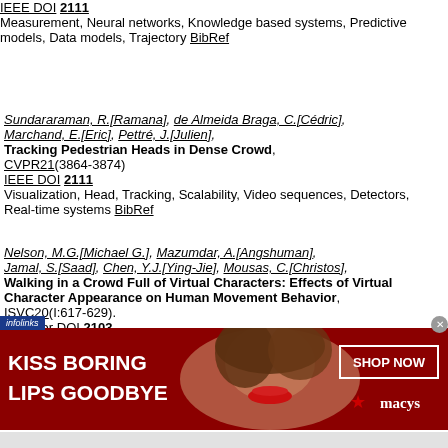IEEE DOI 2111
Measurement, Neural networks, Knowledge based systems, Predictive models, Data models, Trajectory BibRef
Sundararaman, R.[Ramana], de Almeida Braga, C.[Cédric], Marchand, E.[Eric], Pettré, J.[Julien],
Tracking Pedestrian Heads in Dense Crowd,
CVPR21(3864-3874)
IEEE DOI 2111
Visualization, Head, Tracking, Scalability, Video sequences, Detectors, Real-time systems BibRef
Nelson, M.G.[Michael G.], Mazumdar, A.[Angshuman], Jamal, S.[Saad], Chen, Y.J.[Ying-Jie], Mousas, C.[Christos],
Walking in a Crowd Full of Virtual Characters: Effects of Virtual Character Appearance on Human Movement Behavior,
ISVC20(I:617-629).
Springer DOI 2103
[Figure (photo): Advertisement banner: red background with a woman's face, text 'KISS BORING LIPS GOODBYE' on the left and 'SHOP NOW' button with 'macys' star logo on the right. InFolinks label at top left, close button at top right.]